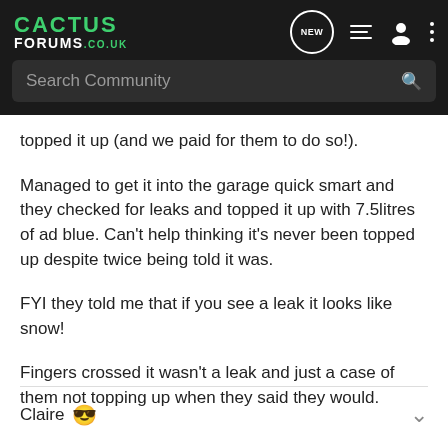CACTUS FORUMS .CO.UK — Search Community
topped it up (and we paid for them to do so!).
Managed to get it into the garage quick smart and they checked for leaks and topped it up with 7.5litres of ad blue. Can't help thinking it's never been topped up despite twice being told it was.
FYI they told me that if you see a leak it looks like snow!
Fingers crossed it wasn't a leak and just a case of them not topping up when they said they would.
Claire 😎